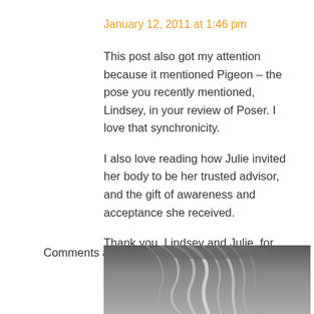January 12, 2011 at 1:46 pm
This post also got my attention because it mentioned Pigeon – the pose you recently mentioned, Lindsey, in your review of Poser. I love that synchronicity.

I also love reading how Julie invited her body to be her trusted advisor, and the gift of awareness and acceptance she received.

Thank you, Lindsey and Julie, for sharing!
Comments are closed.
[Figure (photo): Black and white photo of a person's head/hair, partially visible at the bottom of the page]